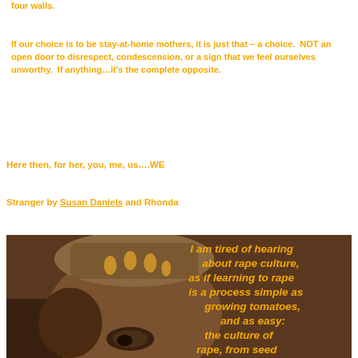four walls.
If our choice is to be stay-at-home mothers, it is just that – a choice.  NOT an open door to disrespect, condescension, or a sign that we feel ourselves unworthy.  If anything…it's the complete opposite.
Here then, for her, you, me, us….WE
Stranger by Susan Daniels and Rhonda
[Figure (photo): Close-up of a face with ornate headwear, overlaid with italic orange text reading: I am tired of hearing about rape culture, as if learning to rape is a process simple as growing tomatoes, and as easy: the culture of rape, from seed]